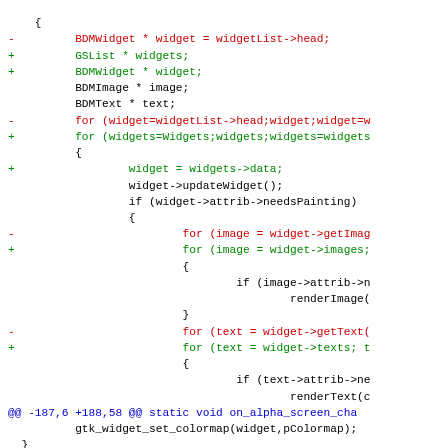Code diff showing changes to widget painting loop and initPaintAttribs function